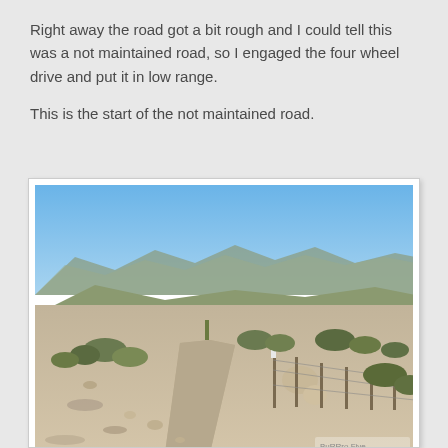Right away the road got a bit rough and I could tell this was a not maintained road, so I engaged the four wheel drive and put it in low range.

This is the start of the not maintained road.
[Figure (photo): Photograph of a dirt desert road with rocky terrain, sparse desert shrubs, a wire fence on the right side, hills and mountains in the background under a blue sky.]